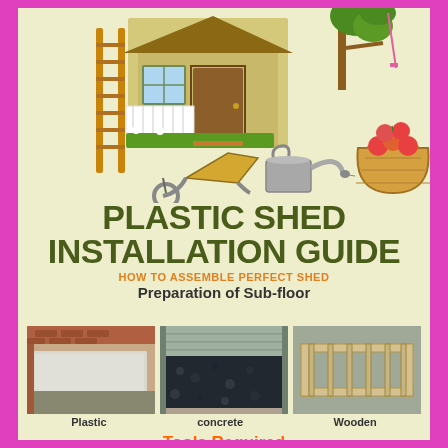[Figure (illustration): Colorful illustration of garden/shed items: wooden shed with door and window, ladder, wheelbarrow, watering can, basket of apples, tree branch]
PLASTIC SHED INSTALLATION GUIDE
HOW TO ASSEMBLE PERFECT SHED
Preparation of Sub-floor
[Figure (photo): Photo of plastic sub-floor (concrete slab)]
Plastic
[Figure (photo): Photo of concrete/gravel sub-floor with dark gravel]
concrete
[Figure (photo): Photo of wooden frame sub-floor]
Wooden
Tools Required